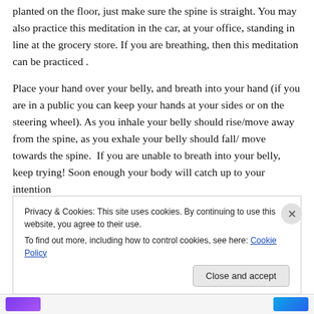planted on the floor, just make sure the spine is straight. You may also practice this meditation in the car, at your office, standing in line at the grocery store. If you are breathing, then this meditation can be practiced .
Place your hand over your belly, and breath into your hand (if you are in a public you can keep your hands at your sides or on the steering wheel). As you inhale your belly should rise/move away from the spine, as you exhale your belly should fall/ move towards the spine.  If you are unable to breath into your belly, keep trying! Soon enough your body will catch up to your intention
Privacy & Cookies: This site uses cookies. By continuing to use this website, you agree to their use.
To find out more, including how to control cookies, see here: Cookie Policy